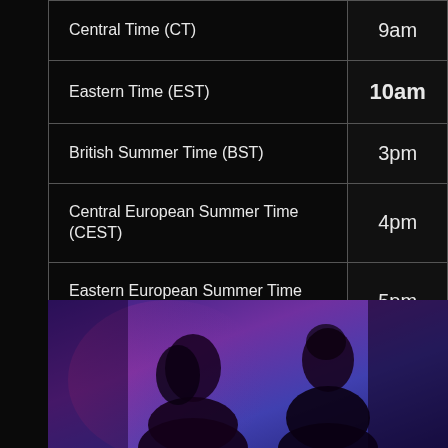| Timezone | Time |
| --- | --- |
| Central Time (CT) | 9am |
| Eastern Time (EST) | 10am |
| British Summer Time (BST) | 3pm |
| Central European Summer Time (CEST) | 4pm |
| Eastern European Summer Time (EEST) | 5pm |
[Figure (photo): Two people (a woman on the left and a man on the right) photographed against a purple/blue gradient background with dramatic lighting]